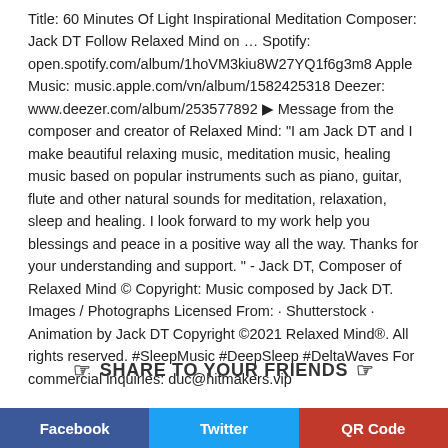Title: 60 Minutes Of Light Inspirational Meditation Composer: Jack DT Follow Relaxed Mind on ... Spotify: open.spotify.com/album/1hoVM3kiu8W27YQ1f6g3m8 Apple Music: music.apple.com/vn/album/1582425318 Deezer: www.deezer.com/album/253577892 ▶ Message from the composer and creator of Relaxed Mind: "I am Jack DT and I make beautiful relaxing music, meditation music, healing music based on popular instruments such as piano, guitar, flute and other natural sounds for meditation, relaxation, sleep and healing. I look forward to my work help you blessings and peace in a positive way all the way. Thanks for your understanding and support. " - Jack DT, Composer of Relaxed Mind © Copyright: Music composed by Jack DT. Images / Photographs Licensed From: · Shutterstock · Animation by Jack DT Copyright ©2021 Relaxed Mind®. All rights reserved. #SleepMusic #DeepSleep #DeltaWaves For commercial inquiries: duc@hitmakers.vip
☞ SHARE TO YOUR FRIENDS ☞
Facebook | Twitter | QR Code